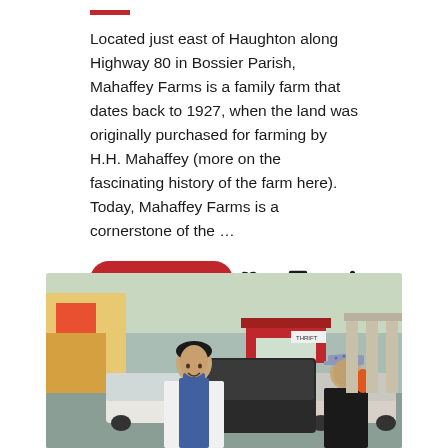Located just east of Haughton along Highway 80 in Bossier Parish, Mahaffey Farms is a family farm that dates back to 1927, when the land was originally purchased for farming by H.H. Mahaffey (more on the fascinating history of the farm here). Today, Mahaffey Farms is a cornerstone of the …
READ MORE
[Figure (photo): A man in a white chef jacket with a blue apron smiling, standing outside near cars in a parking lot. A woman wearing a patterned cap stands in the background to the right. Colorful murals and a red-roofed building are visible in the background.]